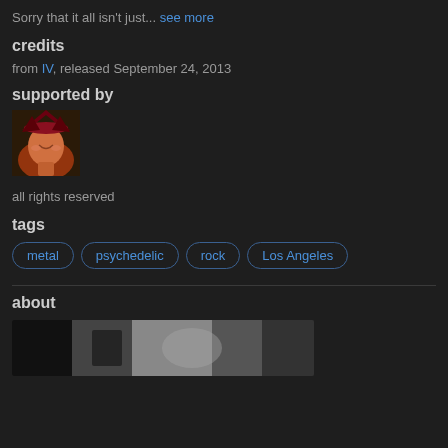Sorry that it all isn't just... see more
credits
from IV, released September 24, 2013
supported by
[Figure (photo): User avatar thumbnail showing a person with a decorative hat, warm reddish-orange tones, smiling face]
all rights reserved
tags
metal  psychedelic  rock  Los Angeles
about
[Figure (photo): Black and white photo partially visible at bottom of page]